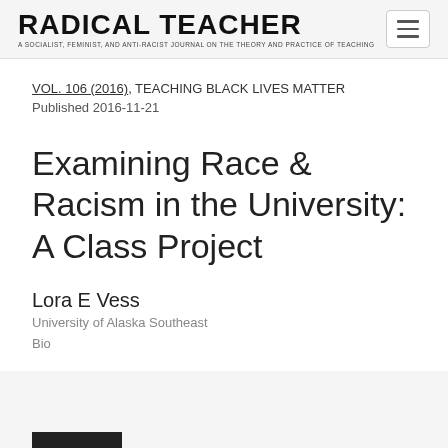RADICAL TEACHER — A SOCIALIST, FEMINIST, AND ANTI-RACIST JOURNAL ON THE THEORY AND PRACTICE OF TEACHING
VOL. 106 (2016), TEACHING BLACK LIVES MATTER
Published 2016-11-21
Examining Race & Racism in the University: A Class Project
Lora E Vess
University of Alaska Southeast
Bio